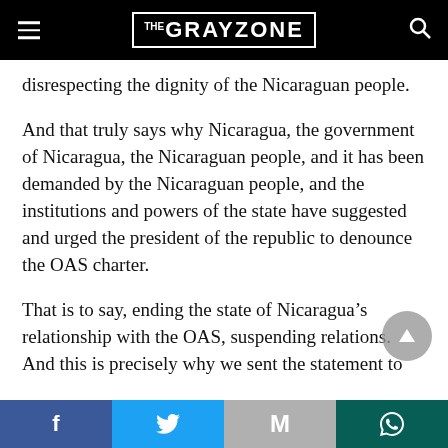THE GRAYZONE
disrespecting the dignity of the Nicaraguan people.
And that truly says why Nicaragua, the government of Nicaragua, the Nicaraguan people, and it has been demanded by the Nicaraguan people, and the institutions and powers of the state have suggested and urged the president of the republic to denounce the OAS charter.
That is to say, ending the state of Nicaragua’s relationship with the OAS, suspending relations. And this is precisely why we sent the statement to
Facebook Twitter Gmail WhatsApp